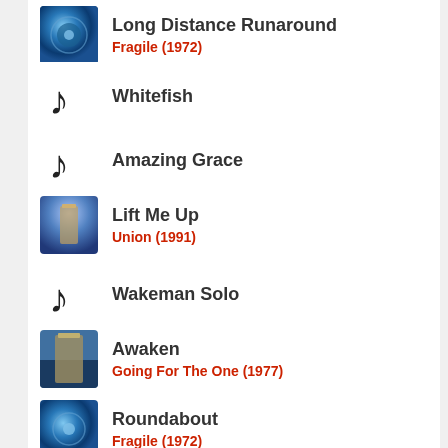Long Distance Runaround — Fragile (1972)
Whitefish
Amazing Grace
Lift Me Up — Union (1991)
Wakeman Solo
Awaken — Going For The One (1977)
Roundabout — Fragile (1972)
Concert
[Figure (map): Map view showing region near Colusa and Grass Valley with Map/Satellite toggle and expand button]